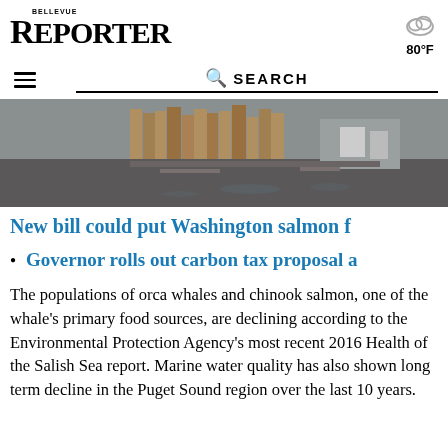BELLEVUE REPORTER | 80°F
[Figure (photo): Outdoor industrial scene showing stacked wooden pallets and equipment on a gravel or dirt surface, partially visible as a cropped strip at the top of the article.]
New bill could put Washington salmon f
Governor rolls out carbon tax proposal a
The populations of orca whales and chinook salmon, one of the whale's primary food sources, are declining according to the Environmental Protection Agency's most recent 2016 Health of the Salish Sea report. Marine water quality has also shown long term decline in the Puget Sound region over the last 10 years.